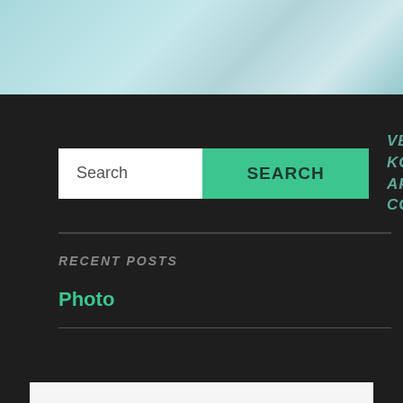[Figure (illustration): Decorative header image with light teal/cyan geometric abstract background]
Search | SEARCH
VEROCSKA KOSCH'S ART CORNER
RECENT POSTS
Photo
Privacy & Cookies: This site uses cookies. By continuing to use this website, you agree to their use.
To find out more, including how to control cookies, see here: Cookie Policy
Close and accept
Koschy…// Secret places